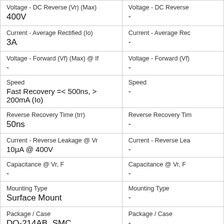| Attribute (Col 1) | Attribute (Col 2) |
| --- | --- |
| Voltage - DC Reverse (Vr) (Max)
400V | Voltage - DC Reverse
- |
| Current - Average Rectified (Io)
3A | Current - Average Rec
- |
| Voltage - Forward (Vf) (Max) @ If
- | Voltage - Forward (Vf)
- |
| Speed
Fast Recovery =< 500ns, > 200mA (Io) | Speed
- |
| Reverse Recovery Time (trr)
50ns | Reverse Recovery Tim
- |
| Current - Reverse Leakage @ Vr
10µA @ 400V | Current - Reverse Lea
- |
| Capacitance @ Vr, F
- | Capacitance @ Vr, F
- |
| Mounting Type
Surface Mount | Mounting Type
- |
| Package / Case
DO-214AB, SMC | Package / Case
- |
| Supplier Device Package | Supplier Device Pack |